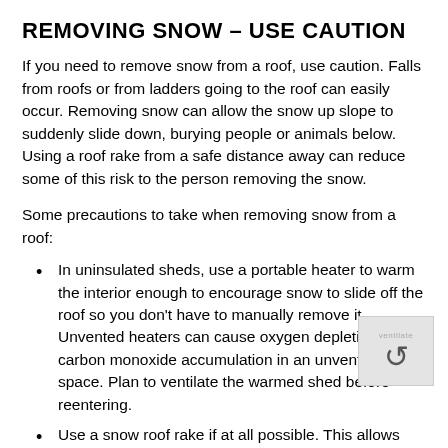REMOVING SNOW – USE CAUTION
If you need to remove snow from a roof, use caution. Falls from roofs or from ladders going to the roof can easily occur. Removing snow can allow the snow up slope to suddenly slide down, burying people or animals below. Using a roof rake from a safe distance away can reduce some of this risk to the person removing the snow.
Some precautions to take when removing snow from a roof:
In uninsulated sheds, use a portable heater to warm the interior enough to encourage snow to slide off the roof so you don't have to manually remove it. Unvented heaters can cause oxygen depletion and carbon monoxide accumulation in an unventilated space. Plan to ventilate the warmed shed before reentering.
Use a snow roof rake if at all possible. This allows you to stand on the ground in a safe place. Check the local hardware store and building supply store. Be aware...